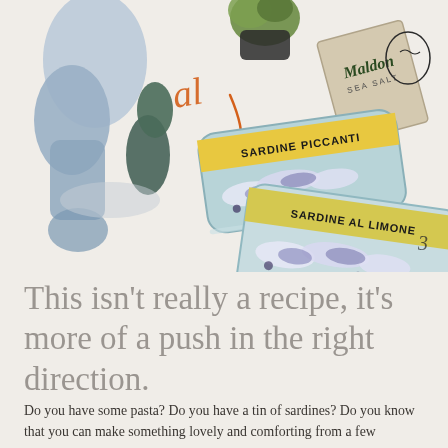[Figure (illustration): Illustrated scene showing cans of sardines (labeled 'SARDINE PICCANTI' and 'SARDINE AL LIMONE'), a box of Maldon Sea Salt, some green herbs/avocado, and blue/grey abstract shapes suggesting a person or bag. Handwritten-style orange text 'al' partially visible. Small hand-drawn doodles including a face and the number 3.]
This isn't really a recipe, it's more of a push in the right direction.
Do you have some pasta? Do you have a tin of sardines? Do you know that you can make something lovely and comforting from a few ingredients?